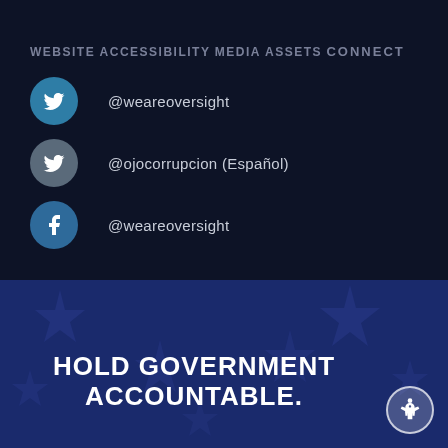WEBSITE ACCESSIBILITY
MEDIA ASSETS
CONNECT
@weareoversight
@ojocorrupcion (Español)
@weareoversight
HOLD GOVERNMENT ACCOUNTABLE.